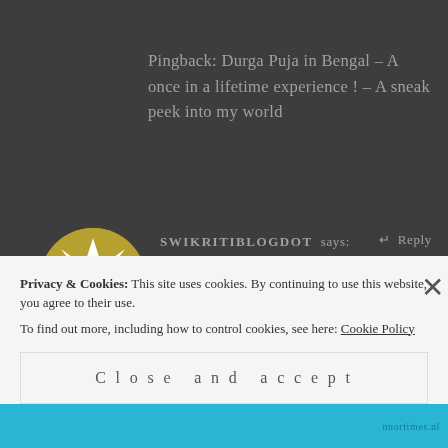Pingback: Durga Puja in Bengal – A once in a lifetime experience ! – A sneak peek into my world
[Figure (illustration): Circular avatar with gold and white geometric star/snowflake pattern on dark background]
SWIKRITIBLOGDOT says:  ← Reply
October 27, 2017 at 5:46 pm
I have heard about durga puja in bengal but you have explained it very
Privacy & Cookies: This site uses cookies. By continuing to use this website, you agree to their use.
To find out more, including how to control cookies, see here: Cookie Policy
Close and accept